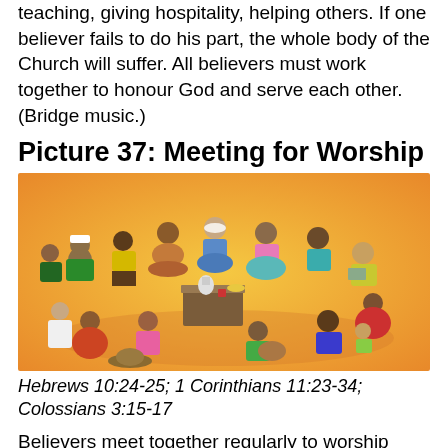teaching, giving hospitality, helping others. If one believer fails to do his part, the whole body of the Church will suffer. All believers must work together to honour God and serve each other. (Bridge music.)
Picture 37: Meeting for Worship
[Figure (illustration): A colorful illustration of a diverse group of people sitting in a circle on the floor for a worship meeting. A small table/box is in the center. People of various ages and ethnicities are gathered together.]
Hebrews 10:24-25; 1 Corinthians 11:23-34; Colossians 3:15-17
Believers meet together regularly to worship God. When they meet they learn from the Bible, pray to God and praise